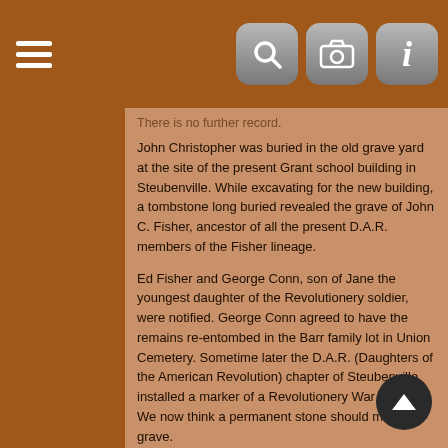[navigation bar with hamburger menu, search, camera, and info icons]
There is no further record.
John Christopher was buried in the old grave yard at the site of the present Grant school building in Steubenville. While excavating for the new building, a tombstone long buried revealed the grave of John C. Fisher, ancestor of all the present D.A.R. members of the Fisher lineage.
Ed Fisher and George Conn, son of Jane the youngest daughter of the Revolutionery soldier, were notified. George Conn agreed to have the remains re-entombed in the Barr family lot in Union Cemetery. Sometime later the D.A.R. (Daughters of the American Revolution) chapter of Steubenville installed a marker of a Revolutionery War soldier. We now think a permanent stone should mark the grave.
-- MERGED NOTE ------------
Johannus Christopher 'John' Fisher The following notes h been passed along in our family, type written, unsigned and undated Titled: INCIDENTS OF EARLY FISHER FAMILY